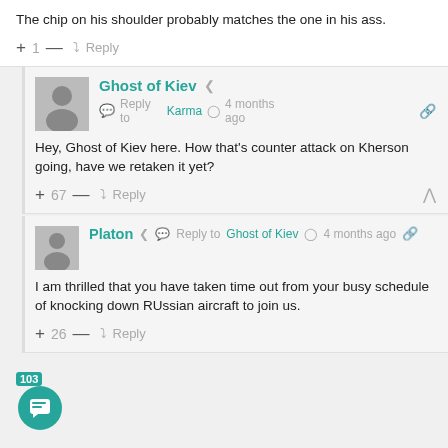The chip on his shoulder probably matches the one in his ass.
+ 1 — ➜ Reply
Ghost of Kiev — Reply to Karma — 4 months ago
Hey, Ghost of Kiev here. How that's counter attack on Kherson going, have we retaken it yet?
+ 67 — ➜ Reply
Platon — Reply to Ghost of Kiev — 4 months ago
I am thrilled that you have taken time out from your busy schedule of knocking down RUssian aircraft to join us.
+ 26 — ➜ Reply